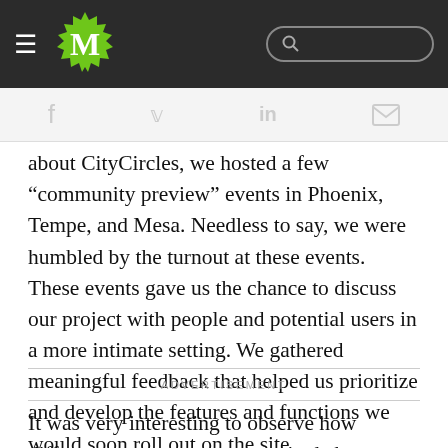M [logo] [search bar]
[Figure (other): Social sharing icons row: facebook, twitter, linkedin, email]
about CityCircles, we hosted a few "community preview" events in Phoenix, Tempe, and Mesa. Needless to say, we were humbled by the turnout at these events. These events gave us the chance to discuss our project with people and potential users in a more intimate setting. We gathered meaningful feedback that helped us prioritize and develop the features and functions we would soon roll out on the site.
ADVERTISEMENT
It was very interesting to observe how different target groups got excited about different features and functions. For example, Arizona State University students were most interested in the events and promotions going on around